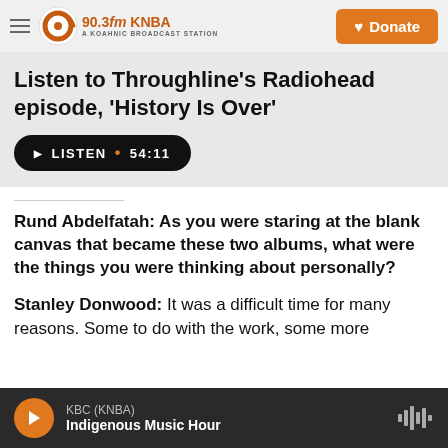90.3fm KNBA – A KOAHNIC BROADCAST STATION | Donate
Listen to Throughline's Radiohead episode, 'History Is Over'
LISTEN • 54:11
Rund Abdelfatah: As you were staring at the blank canvas that became these two albums, what were the things you were thinking about personally?
Stanley Donwood: It was a difficult time for many reasons. Some to do with the work, some more
KBC (KNBA) – Indigenous Music Hour